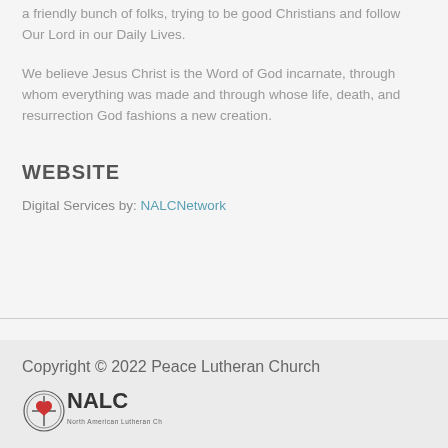a friendly bunch of folks, trying to be good Christians and follow Our Lord in our Daily Lives.
We believe Jesus Christ is the Word of God incarnate, through whom everything was made and through whose life, death, and resurrection God fashions a new creation.
WEBSITE
Digital Services by: NALCNetwork
Copyright © 2022 Peace Lutheran Church